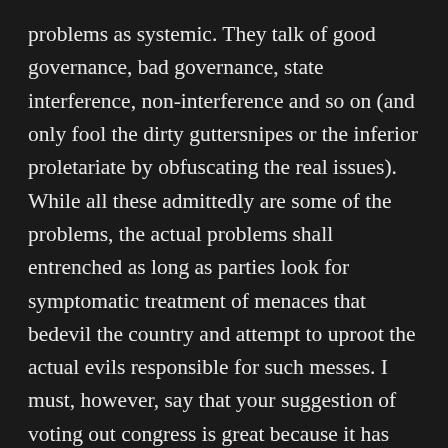problems as systemic. They talk of good governance, bad governance, state interference, non-interference and so on (and only fool the dirty guttersnipes or the inferior proletariate by obfuscating the real issues). While all these admittedly are some of the problems, the actual problems shall entrenched as long as parties look for symptomatic treatment of menaces that bedevil the country and attempt to uproot the actual evils responsible for such messes. I must, however, say that your suggestion of voting out congress is great because it has failed to reform itself. Worse still, it goes brazen with each passing day. But your suggestion to undermine everyone else and